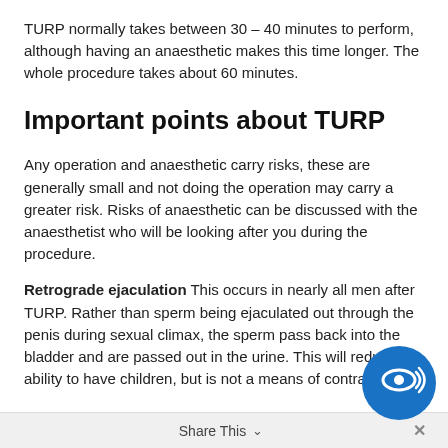TURP normally takes between 30 – 40 minutes to perform, although having an anaesthetic makes this time longer. The whole procedure takes about 60 minutes.
Important points about TURP
Any operation and anaesthetic carry risks, these are generally small and not doing the operation may carry a greater risk. Risks of anaesthetic can be discussed with the anaesthetist who will be looking after you during the procedure.
Retrograde ejaculation This occurs in nearly all men after TURP. Rather than sperm being ejaculated out through the penis during sexual climax, the sperm pass back into the bladder and are passed out in the urine. This will reduce the ability to have children, but is not a means of contraception.
Share This